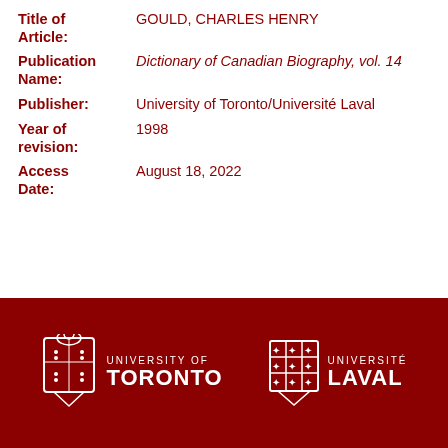Title of Article: GOULD, CHARLES HENRY
Publication Name: Dictionary of Canadian Biography, vol. 14
Publisher: University of Toronto/Université Laval
Year of revision: 1998
Access Date: August 18, 2022
[Figure (logo): University of Toronto and Université Laval logos on dark red background]